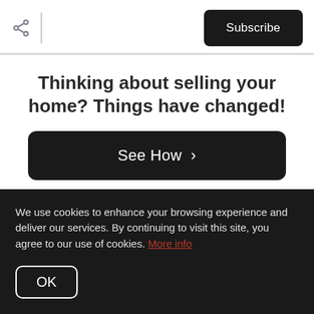Subscribe
Thinking about selling your home? Things have changed!
See How >
6. The money, time and energy spent feels worth it.
We use cookies to enhance your browsing experience and deliver our services. By continuing to visit this site, you agree to our use of cookies. More info
OK